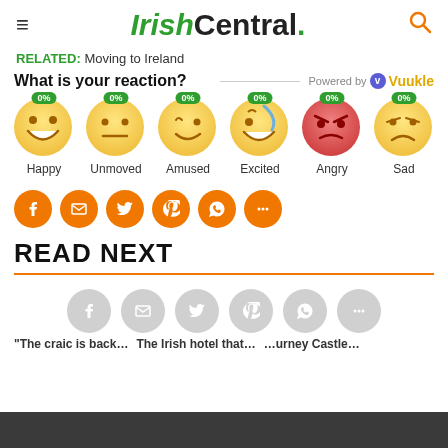IrishCentral.
RELATED: Moving to Ireland
What is your reaction? Powered by Vuukle
[Figure (infographic): Six emoji reaction buttons each showing 0%: Happy, Unmoved, Amused, Excited, Angry, Sad]
[Figure (infographic): Social sharing buttons: Facebook, Email, Twitter, Pinterest, WhatsApp, More (orange circles)]
READ NEXT
[Figure (infographic): Gray social sharing buttons overlay: Facebook, Email, Twitter, Pinterest, WhatsApp, More]
"The craic is back... The Irish hotel that... ...urney Castle...